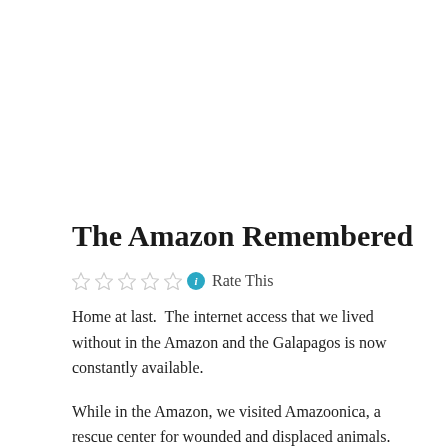The Amazon Remembered
☆☆☆☆☆ ℹ Rate This
Home at last. The internet access that we lived without in the Amazon and the Galapagos is now constantly available.
While in the Amazon, we visited Amazoonica, a rescue center for wounded and displaced animals. Click on the button in the photo to start the slide